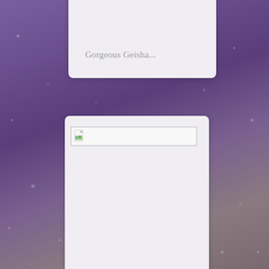Gorgeous Geisha...
[Figure (screenshot): A broken image placeholder (torn document icon with small landscape thumbnail) inside a bordered rectangle at top of second card]
I'm about to shut you down!